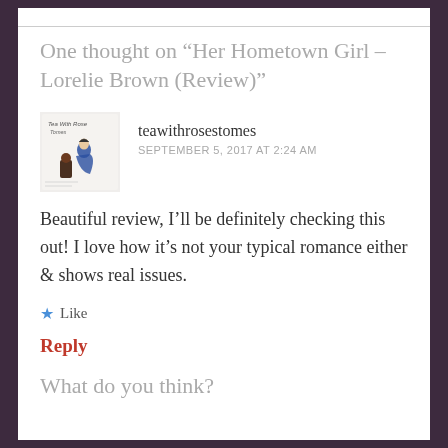One thought on “Her Hometown Girl – Lorelie Brown (Review)”
[Figure (illustration): Avatar/logo image for teawithrosestomes blog, showing illustrated figures with text]
teawithrosestomes
SEPTEMBER 5, 2017 AT 2:24 AM
Beautiful review, I’ll be definitely checking this out! I love how it’s not your typical romance either & shows real issues.
★ Like
Reply
What do you think?